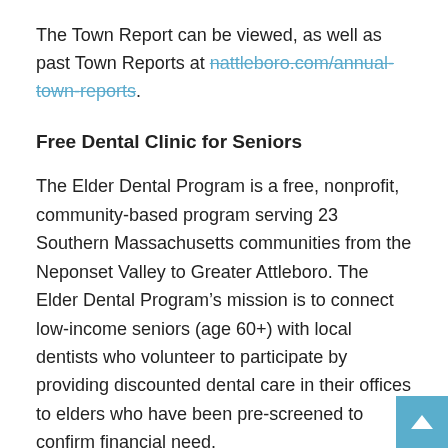The Town Report can be viewed, as well as past Town Reports at nattleboro.com/annual-town-reports.
Free Dental Clinic for Seniors
The Elder Dental Program is a free, nonprofit, community-based program serving 23 Southern Massachusetts communities from the Neponset Valley to Greater Attleboro. The Elder Dental Program’s mission is to connect low-income seniors (age 60+) with local dentists who volunteer to participate by providing discounted dental care in their offices to elders who have been pre-screened to confirm financial need.
On Saturday, Oct. 5, a free clinic will be held from 8:45 a.m.-1 p.m. At the Community VNA, 10 Emory St., Attleboro. Dental professionals will diagnose problems, check for oral cancer,